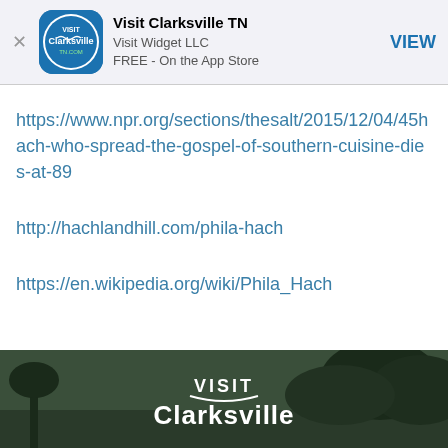[Figure (screenshot): App Store smart banner showing Visit Clarksville TN app by Visit Widget LLC, free on the App Store, with circular blue app icon]
https://www.npr.org/sections/thesalt/2015/12/04/45hach-who-spread-the-gospel-of-southern-cuisine-dies-at-89
http://hachlandhill.com/phila-hach
https://en.wikipedia.org/wiki/Phila_Hach
[Figure (screenshot): Bottom banner showing Visit Clarksville logo in white text on a dark outdoor background with trees]